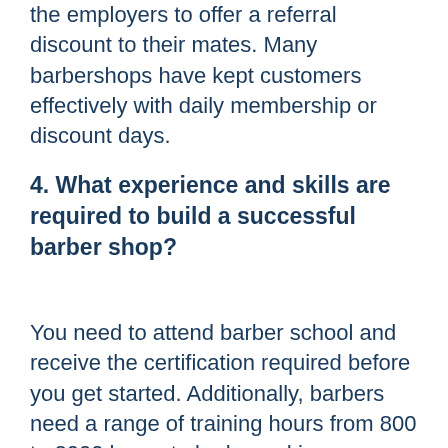the employers to offer a referral discount to their mates. Many barbershops have kept customers effectively with daily membership or discount days.
4. What experience and skills are required to build a successful barber shop?
You need to attend barber school and receive the certification required before you get started. Additionally, barbers need a range of training hours from 800 to 2000 hours to be logged in many States. It is a highly social profession